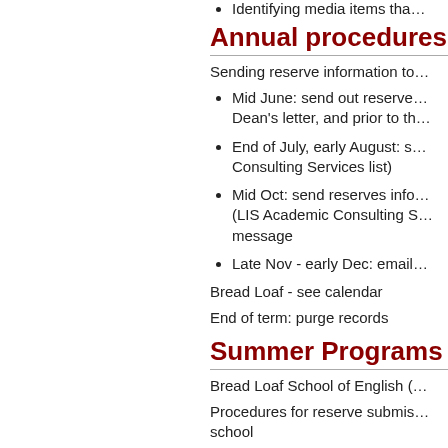Identifying media items tha…
Annual procedures
Sending reserve information to…
Mid June: send out reserve… Dean's letter, and prior to th…
End of July, early August: s… Consulting Services list)
Mid Oct: send reserves info… (LIS Academic Consulting S… message
Late Nov - early Dec: email…
Bread Loaf - see calendar
End of term: purge records
Summer Programs
Bread Loaf School of English (…
Procedures for reserve submis… school